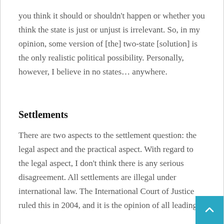you think it should or shouldn't happen or whether you think the state is just or unjust is irrelevant. So, in my opinion, some version of [the] two-state [solution] is the only realistic political possibility. Personally, however, I believe in no states… anywhere.
Settlements
There are two aspects to the settlement question: the legal aspect and the practical aspect. With regard to the legal aspect, I don't think there is any serious disagreement. All settlements are illegal under international law. The International Court of Justice ruled this in 2004, and it is the opinion of all leading